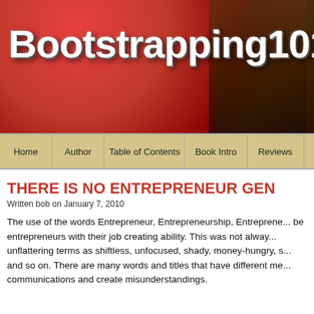[Figure (logo): Bootstrapping101 website header banner with red background and bold white text logo]
Home | Author | Table of Contents | Book Intro | Reviews
THERE IS NO ENTREPRENEUR GEN…
Written bob on January 7, 2010
The use of the words Entrepreneur, Entrepreneurship, Entreprene... be entrepreneurs with their job creating ability. This was not alway... unflattering terms as shiftless, unfocused, shady, money-hungry, s... and so on. There are many words and titles that have different me... communications and create misunderstandings.